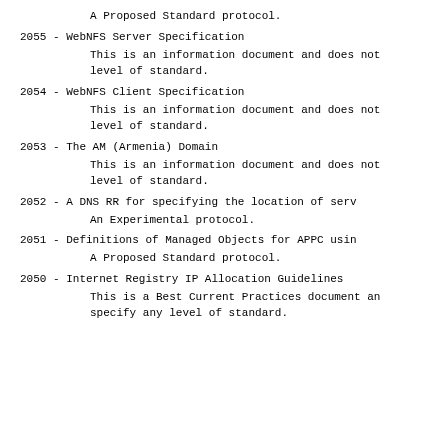A Proposed Standard protocol.
2055 - WebNFS Server Specification

This is an information document and does not specify any level of standard.
2054 - WebNFS Client Specification

This is an information document and does not specify any level of standard.
2053 - The AM (Armenia) Domain

This is an information document and does not specify any level of standard.
2052 - A DNS RR for specifying the location of serv...

An Experimental protocol.
2051 - Definitions of Managed Objects for APPC usin...

A Proposed Standard protocol.
2050 - Internet Registry IP Allocation Guidelines

This is a Best Current Practices document and does not specify any level of standard.